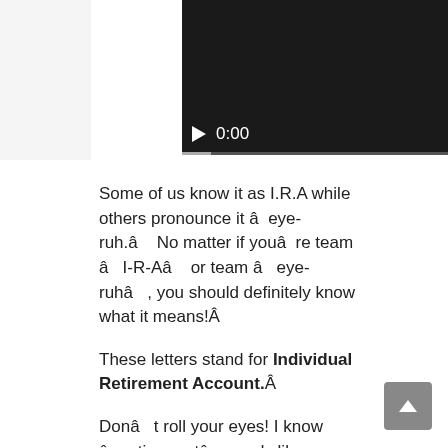[Figure (screenshot): Video player with dark background showing play button and 0:00 timestamp with progress bar]
Some of us know it as I.R.A while others pronounce it âeye-ruh.â No matter if youâre team âI-R-Aâ or team âeye-ruhâ, you should definitely know what it means!Â
These letters stand for Individual Retirement Account.Â
Donât roll your eyes! I know âretirementâ sounds like something you should only worry about when youâre much older, but I promise, youâll be thankful you learned all about this. Itâll help you learn a couple tips on smart tax moves and ultimately help out your future self!Â
You probably have a bank account where you put your